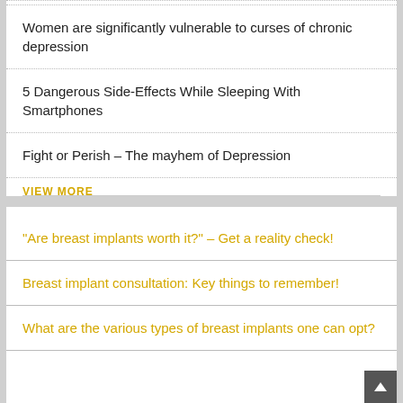Women are significantly vulnerable to curses of chronic depression
5 Dangerous Side-Effects While Sleeping With Smartphones
Fight or Perish – The mayhem of Depression
VIEW MORE
“Are breast implants worth it?” – Get a reality check!
Breast implant consultation: Key things to remember!
What are the various types of breast implants one can opt?